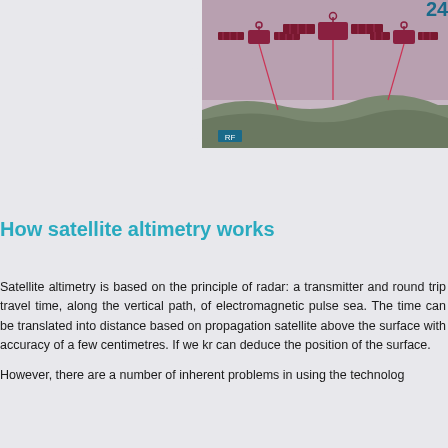[Figure (illustration): A postage stamp showing an illustration of a satellite with solar panels over a terrain, with the number 24 visible in the upper right corner. The stamp has a perforated edge on the left side.]
How satellite altimetry works
Satellite altimetry is based on the principle of radar: a transmitter and round trip travel time, along the vertical path, of electromagnetic pulse sea. The time can be translated into distance based on propagation satellite above the surface with accuracy of a few centimetres. If we kr can deduce the position of the surface.
However, there are a number of inherent problems in using the technolog